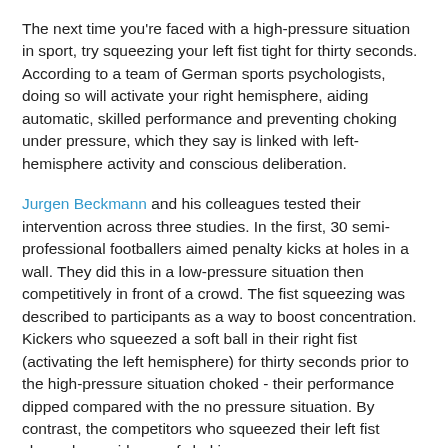The next time you're faced with a high-pressure situation in sport, try squeezing your left fist tight for thirty seconds. According to a team of German sports psychologists, doing so will activate your right hemisphere, aiding automatic, skilled performance and preventing choking under pressure, which they say is linked with left-hemisphere activity and conscious deliberation.
Jurgen Beckmann and his colleagues tested their intervention across three studies. In the first, 30 semi-professional footballers aimed penalty kicks at holes in a wall. They did this in a low-pressure situation then competitively in front of a crowd. The fist squeezing was described to participants as a way to boost concentration. Kickers who squeezed a soft ball in their right fist (activating the left hemisphere) for thirty seconds prior to the high-pressure situation choked - their performance dipped compared with the no pressure situation. By contrast, the competitors who squeezed their left fist showed no evidence of choking.
It was a similar story with 20 Taekwondo practitioners who